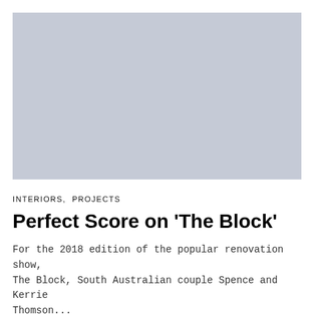[Figure (photo): Large rectangular image placeholder with a light blue-grey solid color, representing an interior/renovation photo]
INTERIORS,  PROJECTS
Perfect Score on ‘The Block’
For the 2018 edition of the popular renovation show, The Block, South Australian couple Spence and Kerrie Thomson...